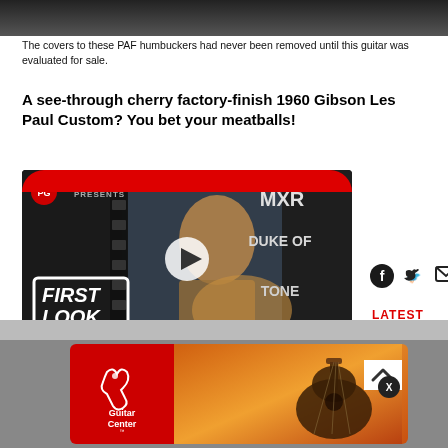[Figure (photo): Top dark banner image, partial photo of guitar/hands]
The covers to these PAF humbuckers had never been removed until this guitar was evaluated for sale.
A see-through cherry factory-finish 1960 Gibson Les Paul Custom? You bet your meatballs!
[Figure (screenshot): PG Presents video thumbnail showing MXR Duke of Tone First Look video with play button]
[Figure (infographic): Social sharing icons: Facebook, Twitter, Email]
LATEST
[Figure (other): Guitar Center advertisement banner with logo on red background and acoustic guitar on orange background]